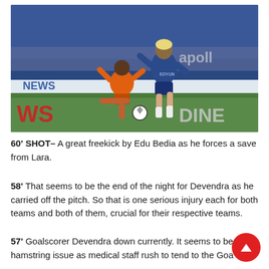[Figure (photo): Two football players competing for the ball during an ISL (Indian Super League) match. One player in orange kit (FC Goa) and another in dark blue kit (Chennaiyin FC) are shown in a tackle on the pitch. Stadium advertising boards visible in background showing 'NEWS', 'WS', 'apollo', 'DINE' partial text.]
60' SHOT- A great freekick by Edu Bedia as he forces a save from Lara.
58' That seems to be the end of the night for Devendra as he carried off the pitch. So that is one serious injury each for both teams and both of them, crucial for their respective teams.
57' Goalscorer Devendra down currently. It seems to be a hamstring issue as medical staff rush to tend to the Goa